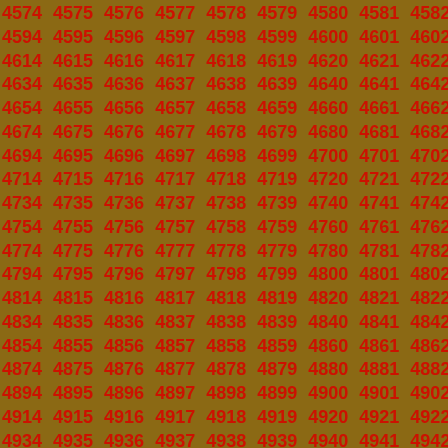Sequential numbers from approximately 4574 to 5026, displayed in a grid pattern with red bold text on an olive/brown background. Numbers increment by 1 across each row, with approximately 14 numbers per row and 20 rows visible.